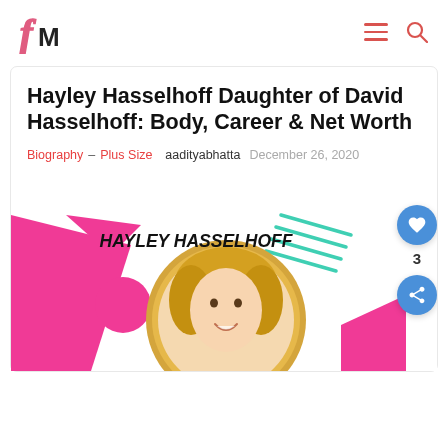fM logo with hamburger menu and search icon
Hayley Hasselhoff Daughter of David Hasselhoff: Body, Career & Net Worth
Biography – Plus Size   aadityabhatta   December 26, 2020
[Figure (photo): Promotional graphic for Hayley Hasselhoff featuring pink and teal geometric shapes, a circular golden-framed portrait of a blonde woman smiling, and bold text reading 'HAYLEY HASSELHOFF']